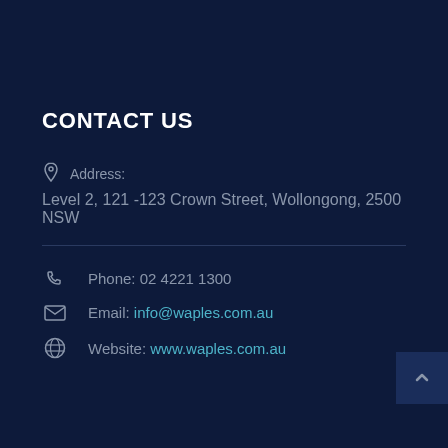CONTACT US
Address: Level 2, 121-123 Crown Street, Wollongong, 2500 NSW
Phone: 02 4221 1300
Email: info@waples.com.au
Website: www.waples.com.au